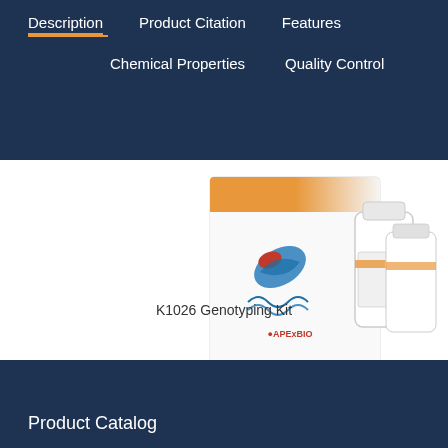Description | Product Citation | Features | Chemical Properties | Quality Control
[Figure (photo): APExBIO branded Genotyping Kit product box with reagent bottles and vials displayed on white background]
K1026 Genotyping Kit
Product Catalog